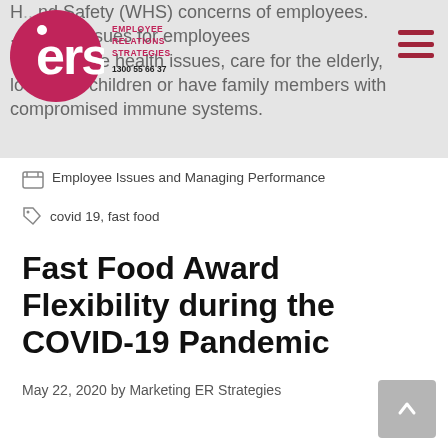ERS Employee Relations Strategies — 1300 55 66 37
H... and Safety (WHS) concerns of employees. ...l WHS issues for employees w... they have health issues, care for the elderly, look after children or have family members with compromised immune systems.
Employee Issues and Managing Performance
covid 19, fast food
Fast Food Award Flexibility during the COVID-19 Pandemic
May 22, 2020 by Marketing ER Strategies